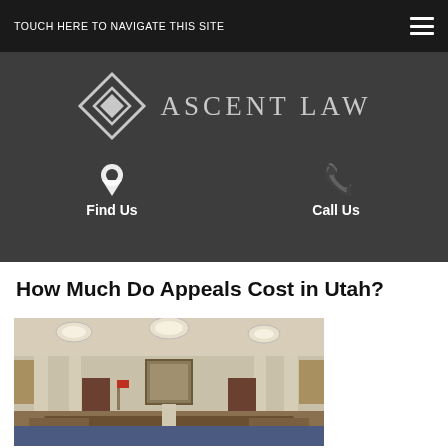TOUCH HERE TO NAVIGATE THIS SITE
[Figure (logo): Ascent Law logo with diamond/chevron icon and text 'ASCENT LAW', with Find Us and Call Us links below]
How Much Do Appeals Cost in Utah?
[Figure (photo): Interior of a courtroom showing wooden benches, columns, pendant ceiling lights, a portrait on the wall, and blue jury chairs]